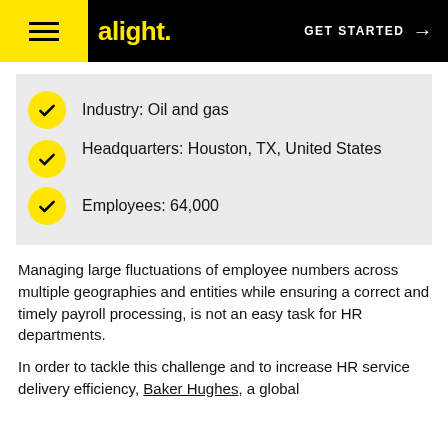alight. GET STARTED →
Industry: Oil and gas
Headquarters: Houston, TX, United States
Employees: 64,000
Managing large fluctuations of employee numbers across multiple geographies and entities while ensuring a correct and timely payroll processing, is not an easy task for HR departments.
In order to tackle this challenge and to increase HR service delivery efficiency, Baker Hughes, a global